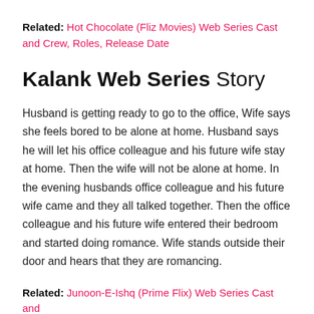Related: Hot Chocolate (Fliz Movies) Web Series Cast and Crew, Roles, Release Date
Kalank Web Series Story
Husband is getting ready to go to the office, Wife says she feels bored to be alone at home. Husband says he will let his office colleague and his future wife stay at home. Then the wife will not be alone at home. In the evening husbands office colleague and his future wife came and they all talked together. Then the office colleague and his future wife entered their bedroom and started doing romance. Wife stands outside their door and hears that they are romancing.
Related: Junoon-E-Ishq (Prime Flix) Web Series Cast and